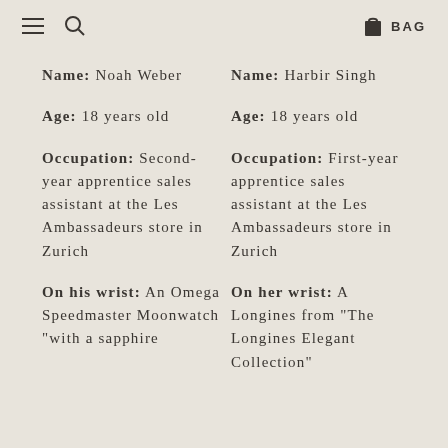☰ 🔍 BAG
Name: Noah Weber
Name: Harbir Singh
Age: 18 years old
Age: 18 years old
Occupation: Second-year apprentice sales assistant at the Les Ambassadeurs store in Zurich
Occupation: First-year apprentice sales assistant at the Les Ambassadeurs store in Zurich
On his wrist: An Omega Speedmaster Moonwatch "with a sapphire
On her wrist: A Longines from "The Longines Elegant Collection"